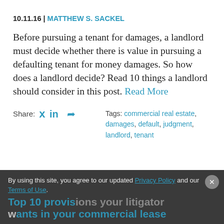10.11.16 | MATTHEW S. SACKEL
Before pursuing a tenant for damages, a landlord must decide whether there is value in pursuing a defaulting tenant for money damages. So how does a landlord decide? Read 10 things a landlord should consider in this post. Read More
Share: [twitter] [linkedin] [share]   Tags: commercial real estate, damages, default, judgment, landlord, tenant
By using this site, you agree to our updated Privacy Policy and our Terms of Use.
Top 10 provisions your litigator ants in your commercial lease